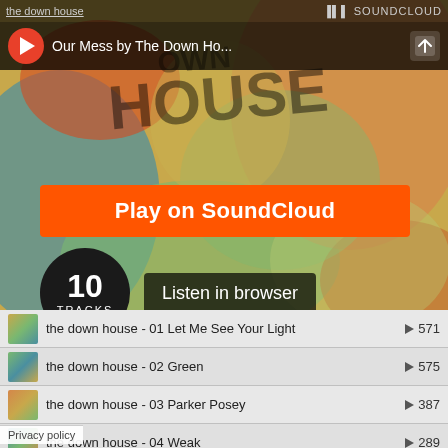[Figure (screenshot): SoundCloud embedded player showing 'Our Mess by The Down House' album with colorful graffiti-style artwork. Orange 'Play on SoundCloud' button, track count circle showing 10 TRACKS, 'Listen in browser' button, and tracklist with 4 visible tracks.]
the down house
SOUNDCLOUD
Our Mess by The Down Ho...
Play on SoundCloud
10 TRACKS
Listen in browser
the down house - 01 Let Me See Your Light   ▶ 571
the down house - 02 Green   ▶ 575
the down house - 03 Parker Posey   ▶ 387
the down house - 04 Weak   ▶ 289
Privacy policy